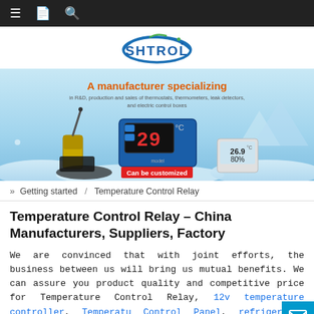Navigation bar with menu, bookmark, and search icons
[Figure (logo): SHTROL company logo — blue circular swoosh with green accent, bold blue text 'SHTROL' with dot above L]
[Figure (photo): Product banner image with icy blue background showing temperature controller devices. Orange bold text: 'A manufacturer specializing'. Smaller text: 'in R&D, production and sales of thermostats, thermometers, leak detectors, and electric control boxes'. Red button text: 'Can be customized']
» Getting started / Temperature Control Relay
Temperature Control Relay – China Manufacturers, Suppliers, Factory
We are convinced that with joint efforts, the business between us will bring us mutual benefits. We can assure you product quality and competitive price for Temperature Control Relay, 12v temperature controller, Temperature Control Panel, refrigerator temperature controller,Ind